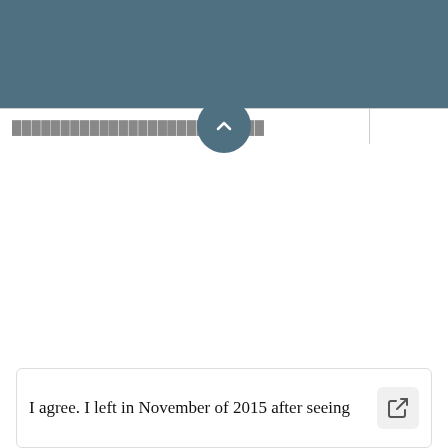[Figure (screenshot): Dark teal/slate colored header bar at the top of a mobile web page]
[Figure (screenshot): Toolbar row with partially visible text on the left and a circular chevron-up button centered on the toolbar divider, in dark teal color]
I agree. I left in November of 2015 after seeing